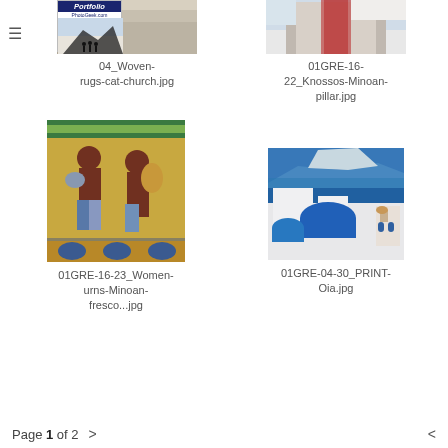[Figure (photo): Photo thumbnail of woven rugs with cat and church, partially covered by Portfolio PhotoGeek.com logo overlay]
04_Woven-rugs-cat-church.jpg
[Figure (photo): Photo thumbnail of Knossos Minoan pillar with snow/white background]
01GRE-16-22_Knossos-Minoan-pillar.jpg
[Figure (photo): Photo of ancient Minoan fresco showing two women carrying urns on yellow/green background]
01GRE-16-23_Women-urns-Minoan-fresco...jpg
[Figure (photo): Photo of Oia Santorini showing blue domed churches and blue sea/caldera in background]
01GRE-04-30_PRINT-Oia.jpg
Page 1 of 2